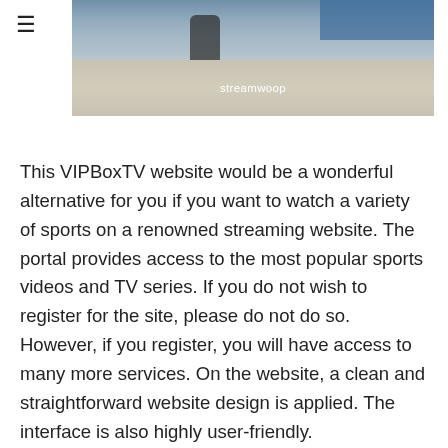[Figure (screenshot): Partial image of a sports streaming scene with a watermark label 'streamwoop' overlaid at the bottom center]
This VIPBoxTV website would be a wonderful alternative for you if you want to watch a variety of sports on a renowned streaming website. The portal provides access to the most popular sports videos and TV series. If you do not wish to register for the site, please do not do so. However, if you register, you will have access to many more services. On the website, a clean and straightforward website design is applied. The interface is also highly user-friendly.